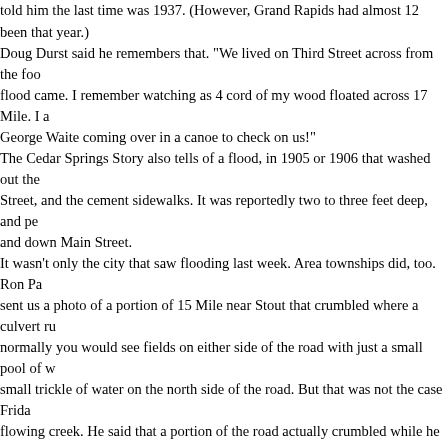told him the last time was 1937. (However, Grand Rapids had almost 12 inches of rain that year.) Doug Durst said he remembers that. "We lived on Third Street across from the foo... flood came. I remember watching as 4 cord of my wood floated across 17 Mile. I a... George Waite coming over in a canoe to check on us!" The Cedar Springs Story also tells of a flood, in 1905 or 1906 that washed out the... Street, and the cement sidewalks. It was reportedly two to three feet deep, and pe... and down Main Street. It wasn't only the city that saw flooding last week. Area townships did, too. Ron Pa... sent us a photo of a portion of 15 Mile near Stout that crumbled where a culvert ru... normally you would see fields on either side of the road with just a small pool of w... small trickle of water on the north side of the road. But that was not the case Frida... flowing creek. He said that a portion of the road actually crumbled while he was st... second time in the last few years that this has happened. The road remains close... Meanwhile, Kent County declared a state of Emergency. There was widespread fl... River flooded many areas in Grand Rapids, even causing evacuation of buildings... The Grand River in Grand Rapids crested at 21.85 feet, a new record. If you have any memories of past floods and when they were, send them to us at...
Posted i
Wong-Durst
Posted on 12 April 2012. Tags: Durst, wedding, Wong
Brooke Durst and Jeremy Wong...